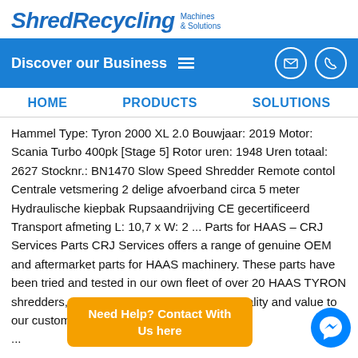ShredRecycling Machines & Solutions
Discover our Business
HOME   PRODUCTS   SOLUTIONS
Hammel Type: Tyron 2000 XL 2.0 Bouwjaar: 2019 Motor: Scania Turbo 400pk [Stage 5] Rotor uren: 1948 Uren totaal: 2627 Stocknr.: BN1470 Slow Speed Shredder Remote contol Centrale vetsmering 2 delige afvoerband circa 5 meter Hydraulische kiepbak Rupsaandrijving CE gecertificeerd Transport afmeting L: 10,7 x W: 2 ... Parts for HAAS – CRJ Services Parts CRJ Services offers a range of genuine OEM and aftermarket parts for HAAS machinery. These parts have been tried and tested in our own fleet of over 20 HAAS TYRON shredders, to ensure we are offering both quality and value to our customers. S  N ...
Need Help? Contact With Us here